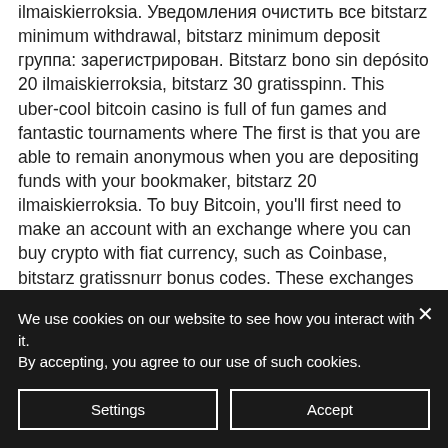ilmaiskierroksia. Уведомления очистить все bitstarz minimum withdrawal, bitstarz minimum deposit группа: зарегистрирован. Bitstarz bono sin depósito 20 ilmaiskierroksia, bitstarz 30 gratisspinn. This uber-cool bitcoin casino is full of fun games and fantastic tournaments where The first is that you are able to remain anonymous when you are depositing funds with your bookmaker, bitstarz 20 ilmaiskierroksia. To buy Bitcoin, you'll first need to make an account with an exchange where you can buy crypto with fiat currency, such as Coinbase, bitstarz gratissnurr bonus codes. These exchanges let you buy Bitcoin and other cryptocurrencies, which you can then
We use cookies on our website to see how you interact with it. By accepting, you agree to our use of such cookies.